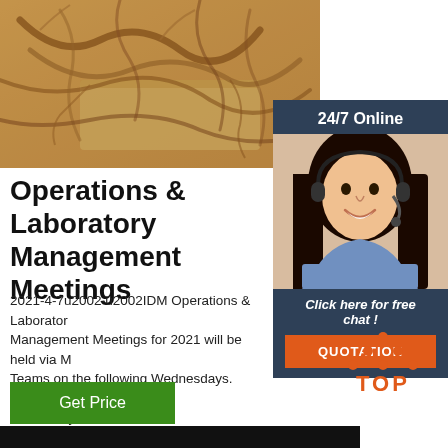[Figure (photo): Close-up photo of ginseng roots on a wooden surface]
[Figure (photo): Sidebar with '24/7 Online' header, woman with headset photo, 'Click here for free chat!' text, and orange QUOTATION button]
Operations & Laboratory Management Meetings
2021-4-7u2002·u2002IDM Operations & Laboratory Management Meetings for 2021 will be held via MS Teams on the following Wednesdays. Between 1... 3 February 2021
[Figure (logo): TOP logo with orange dots arranged in triangle above the word TOP in orange]
Get Price